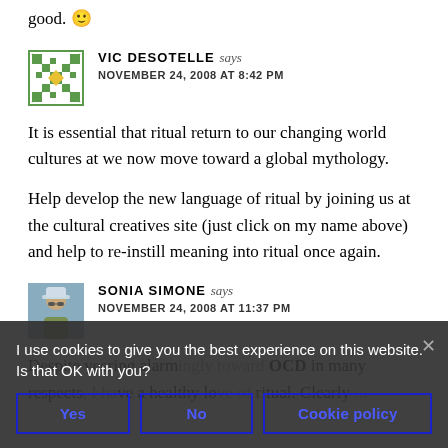good. 🙂
VIC DESOTELLE says
NOVEMBER 24, 2008 AT 8:42 PM
It is essential that ritual return to our changing world cultures at we now move toward a global mythology.

Help develop the new language of ritual by joining us at the cultural creatives site (just click on my name above) and help to re-instill meaning into ritual once again.
SONIA SIMONE says
NOVEMBER 24, 2008 AT 11:37 PM
Despite veering alarmingly toward OCD in many respects, I have a healthy love of ritual. Clearly ...
I use cookies to give you the best experience on this website. Is that OK with you?